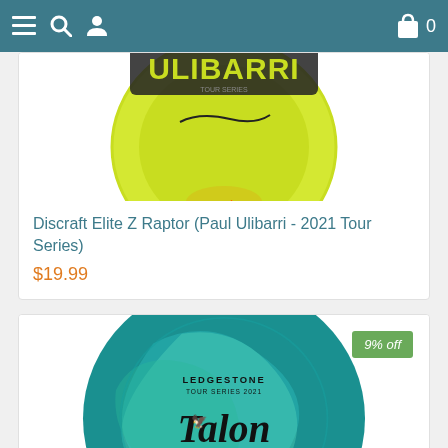Navigation header with menu, search, account, and cart icons
[Figure (photo): Yellow-green Discraft Elite Z Raptor disc golf disc with Paul Ulibarri Tour Series branding and Sun King logo, cropped showing top portion of disc]
Discraft Elite Z Raptor (Paul Ulibarri - 2021 Tour Series)
$19.99
[Figure (photo): Teal/cyan swirl Discraft Z Swirl Talon disc with Ledgestone Tour Series 2021 branding and Sun King logo, with 9% off badge]
9% off